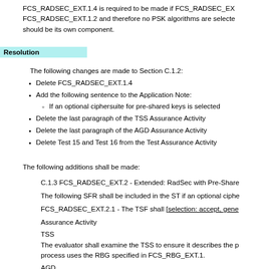FCS_RADSEC_EXT.1.4 is required to be made if FCS_RADSEC_EXT.1.2 and therefore no PSK algorithms are selected. should be its own component.
Resolution
The following changes are made to Section C.1.2:
Delete FCS_RADSEC_EXT.1.4
Add the following sentence to the Application Note: If an optional ciphersuite for pre-shared keys is selected
Delete the last paragraph of the TSS Assurance Activity
Delete the last paragraph of the AGD Assurance Activity
Delete Test 15 and Test 16 from the Test Assurance Activity
The following additions shall be made:
C.1.3 FCS_RADSEC_EXT.2 - Extended: RadSec with Pre-Share
The following SFR shall be included in the ST if an optional ciphe
FCS_RADSEC_EXT.2.1 - The TSF shall [selection: accept, gene
Assurance Activity
TSS
The evaluator shall examine the TSS to ensure it describes the process uses the RBG specified in FCS_RBG_EXT.1.
AGD